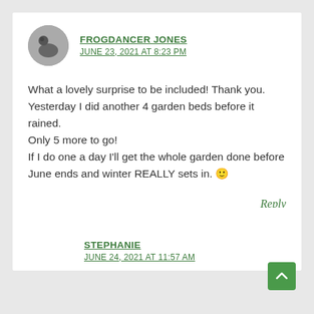FROGDANCER JONES
JUNE 23, 2021 AT 8:23 PM
What a lovely surprise to be included! Thank you. Yesterday I did another 4 garden beds before it rained. Only 5 more to go! If I do one a day I'll get the whole garden done before June ends and winter REALLY sets in. 🙂
Reply
STEPHANIE
JUNE 24, 2021 AT 11:57 AM